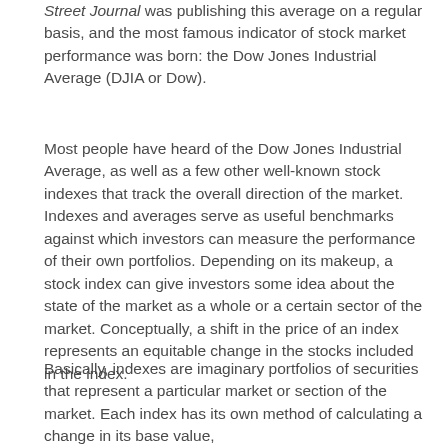Street Journal was publishing this average on a regular basis, and the most famous indicator of stock market performance was born: the Dow Jones Industrial Average (DJIA or Dow).
Most people have heard of the Dow Jones Industrial Average, as well as a few other well-known stock indexes that track the overall direction of the market. Indexes and averages serve as useful benchmarks against which investors can measure the performance of their own portfolios. Depending on its makeup, a stock index can give investors some idea about the state of the market as a whole or a certain sector of the market. Conceptually, a shift in the price of an index represents an equitable change in the stocks included in the index.
Basically, indexes are imaginary portfolios of securities that represent a particular market or section of the market. Each index has its own method of calculating a change in its base value,